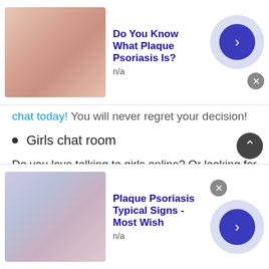[Figure (infographic): Top ad banner: skin photo, title 'Do You Know What Plaque Psoriasis Is?', n/a, arrow button, close button]
chat today! You will never regret your decision!
Girls chat room
Do you love talking to girls online? Or looking for a great companionship? If it's so then at the Talkwithstranger app you can talk to strangers in Taiwan and find your best match or true companion. Well, TWS girls chat room is not only restricted to boy-to-girl talk, it can be a girl-to-girl talk. Yes, girls
[Figure (infographic): Bottom ad banner: skin/medical photo, title 'Plaque Psoriasis Typical Signs - Most Wish', n/a, arrow button, close button]